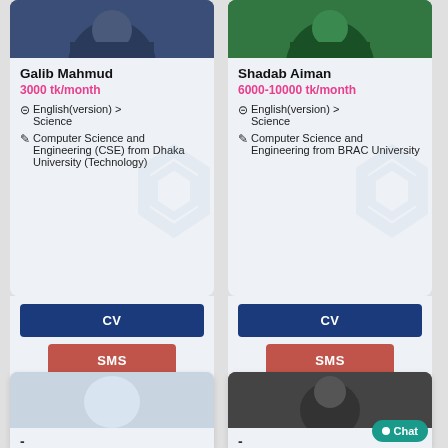[Figure (photo): Photo of Galib Mahmud wearing a blue shirt, cropped profile card image]
Galib Mahmud
3000 tk/month
⊟ English(version) > Science
✎ Computer Science and Engineering (CSE) from Dhaka University (Technology)
CV
SMS
[Figure (photo): Photo of Shadab Aiman standing outdoors in green/teal shirt, cropped profile card image]
Shadab Aiman
6000-10000 tk/month
⊟ English(version) > Science
✎ Computer Science and Engineering from BRAC University
CV
SMS
[Figure (photo): Partial card at bottom left, partially visible]
[Figure (photo): Partial card at bottom right with Chat button overlay; person with dark hair visible]